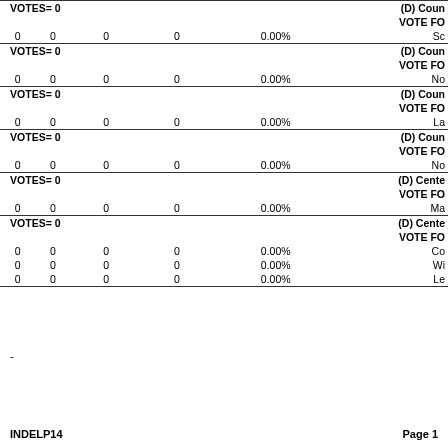|  |  |  |  |  |  |
| --- | --- | --- | --- | --- | --- |
| VOTES= 0 |  |  |  |  | (D) Coun... VOTE FO... Sc |
| 0 | 0 | 0 | 0 | 0.00% | Sc |
| VOTES= 0 |  |  |  |  | (D) Coun... VOTE FO... No |
| 0 | 0 | 0 | 0 | 0.00% | No |
| VOTES= 0 |  |  |  |  | (D) Coun... VOTE FO... La |
| 0 | 0 | 0 | 0 | 0.00% | La |
| VOTES= 0 |  |  |  |  | (D) Coun... VOTE FO... No |
| 0 | 0 | 0 | 0 | 0.00% | No |
| VOTES= 0 |  |  |  |  | (D) Cente... VOTE FO... Ma |
| 0 | 0 | 0 | 0 | 0.00% | Ma |
| VOTES= 0 |  |  |  |  | (D) Cente... VOTE FO... |
| 0 | 0 | 0 | 0 | 0.00% | Co |
| 0 | 0 | 0 | 0 | 0.00% | Wi |
| 0 | 0 | 0 | 0 | 0.00% | Le |
-
INDELP14    Page 1